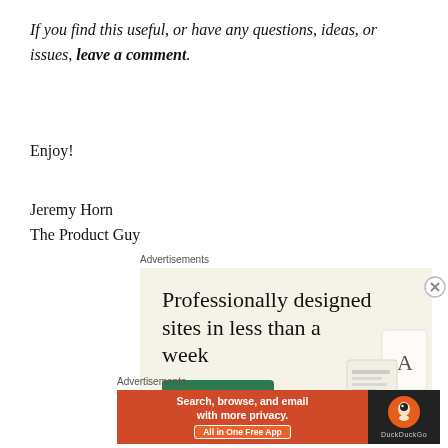If you find this useful, or have any questions, ideas, or issues, leave a comment.
Enjoy!
Jeremy Horn
The Product Guy
Advertisements
[Figure (infographic): Advertisement for Squarespace: 'Professionally designed sites in less than a week' with Explore options button and device mockup imagery]
Advertisements
[Figure (infographic): Advertisement for DuckDuckGo: 'Search, browse, and email with more privacy. All in One Free App']